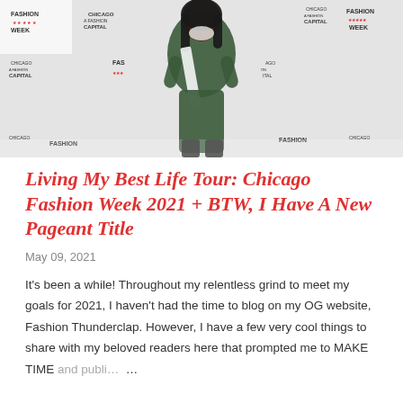[Figure (photo): A woman wearing a pageant sash posing in front of a Chicago Fashion Week step-and-repeat banner backdrop, wearing a black outfit and a white face mask pulled down]
Living My Best Life Tour: Chicago Fashion Week 2021 + BTW, I Have A New Pageant Title
May 09, 2021
It's been a while! Throughout my relentless grind to meet my goals for 2021, I haven't had the time to blog on my OG website, Fashion Thunderclap. However, I have a few very cool things to share with my beloved readers here that prompted me to MAKE TIME and publi… …